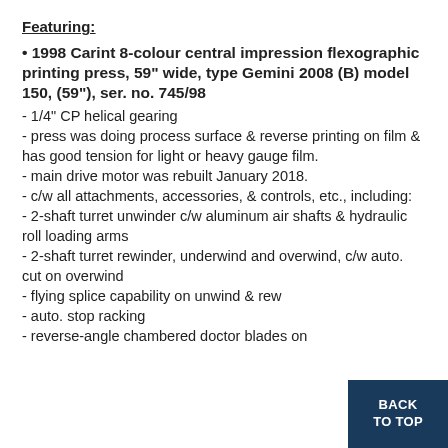Featuring:
1998 Carint 8-colour central impression flexographic printing press, 59" wide, type Gemini 2008 (B) model 150, (59"), ser. no. 745/98
- 1/4” CP helical gearing
- press was doing process surface & reverse printing on film & has good tension for light or heavy gauge film.
- main drive motor was rebuilt January 2018.
- c/w all attachments, accessories, & controls, etc., including:
- 2-shaft turret unwinder c/w aluminum air shafts & hydraulic roll loading arms
- 2-shaft turret rewinder, underwind and overwind, c/w auto. cut on overwind
- flying splice capability on unwind & rew...
- auto. stop racking
- reverse-angle chambered doctor blades on...